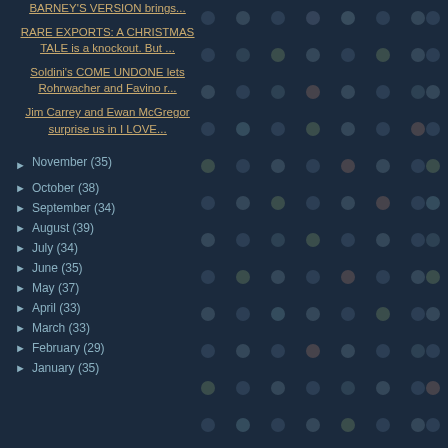BARNEY'S VERSION brings...
RARE EXPORTS: A CHRISTMAS TALE is a knockout. But ...
Soldini's COME UNDONE lets Rohrwacher and Favino r...
Jim Carrey and Ewan McGregor surprise us in I LOVE...
► November (35)
► October (38)
► September (34)
► August (39)
► July (34)
► June (35)
► May (37)
► April (33)
► March (33)
► February (29)
► January (35)